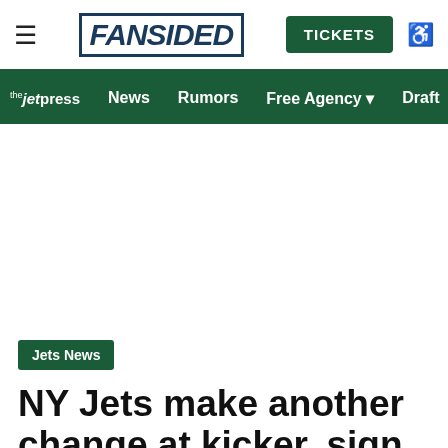FanSided | TICKETS
the jet press | News | Rumors | Free Agency | Draft | Hist
[Figure (other): Advertisement/blank white space area]
Jets News
NY Jets make another change at kicker, sign Eddy